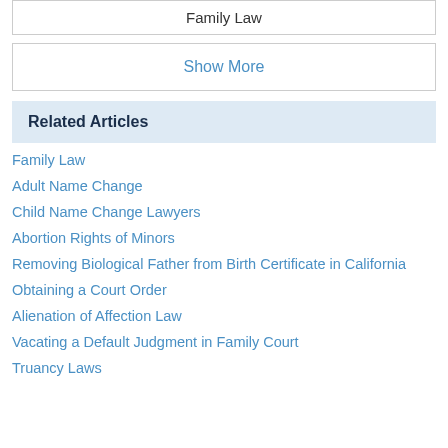Family Law
Show More
Related Articles
Family Law
Adult Name Change
Child Name Change Lawyers
Abortion Rights of Minors
Removing Biological Father from Birth Certificate in California
Obtaining a Court Order
Alienation of Affection Law
Vacating a Default Judgment in Family Court
Truancy Laws